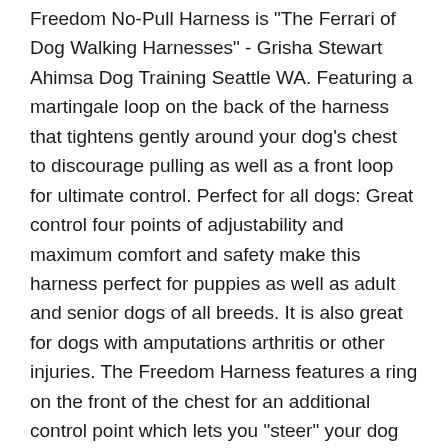Freedom No-Pull Harness is "The Ferrari of Dog Walking Harnesses" - Grisha Stewart Ahimsa Dog Training Seattle WA. Featuring a martingale loop on the back of the harness that tightens gently around your dog's chest to discourage pulling as well as a front loop for ultimate control. Perfect for all dogs: Great control four points of adjustability and maximum comfort and safety make this harness perfect for puppies as well as adult and senior dogs of all breeds. It is also great for dogs with amputations arthritis or other injuries. The Freedom Harness features a ring on the front of the chest for an additional control point which lets you "steer" your dog and redirect his or her attention which make leash training easier. Using a double ended leash allows you to connect to the front and back of the harness simultaneously allowing you to steer your dog like using the reins on a horse and redirect his attention back to you. Industry leading lifetime chewing warranty: The